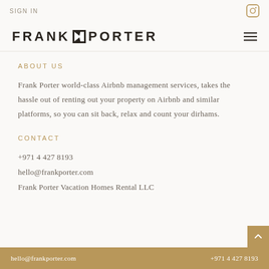SIGN IN
FRANK PORTER
ABOUT US
Frank Porter world-class Airbnb management services, takes the hassle out of renting out your property on Airbnb and similar platforms, so you can sit back, relax and count your dirhams.
CONTACT
+971 4 427 8193
hello@frankporter.com
Frank Porter Vacation Homes Rental LLC
hello@frankporter.com   +971 4 427 8193